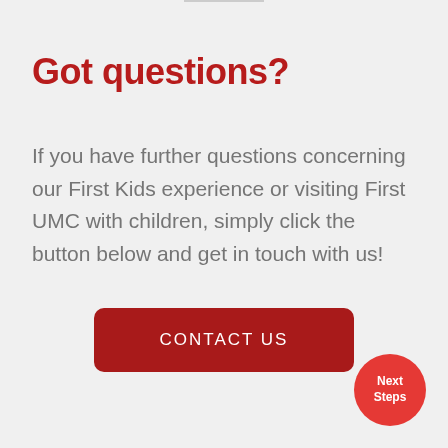Got questions?
If you have further questions concerning our First Kids experience or visiting First UMC with children, simply click the button below and get in touch with us!
[Figure (other): Red rounded rectangle button labeled CONTACT US]
[Figure (other): Red circular badge labeled Next Steps in bottom right corner]